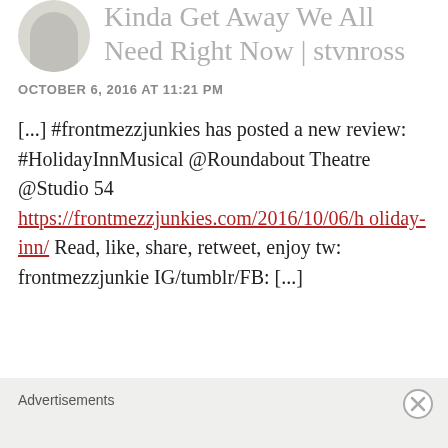Kinda Get Away We All Need Right Now | stvnross
OCTOBER 6, 2016 AT 11:21 PM
[...] #frontmezzjunkies has posted a new review: #HolidayInnMusical @Roundabout Theatre @Studio 54 https://frontmezzjunkies.com/2016/10/06/holiday-inn/ Read, like, share, retweet, enjoy tw: frontmezzjunkie IG/tumblr/FB: [...]
Advertisements